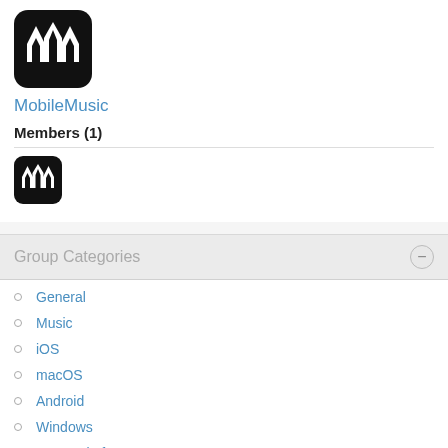[Figure (logo): MobileMusic app logo: black rounded square with white waveform/crown-like icon]
MobileMusic
Members (1)
[Figure (logo): Small MobileMusic app logo icon]
Group Categories
General
Music
iOS
macOS
Android
Windows
Cross-Platform
Other Platforms
Hardware